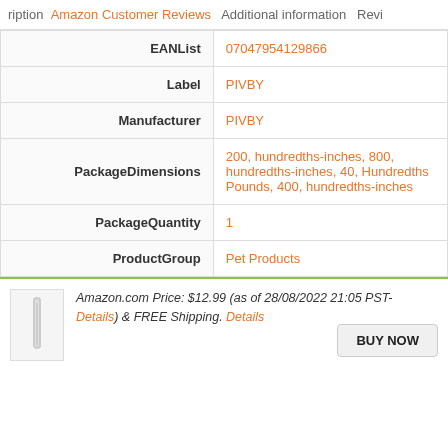ription  Amazon Customer Reviews  Additional information  Revi
| Field | Value |
| --- | --- |
| EANList | 07047954129866 |
| Label | PIVBY |
| Manufacturer | PIVBY |
| PackageDimensions | 200, hundredths-inches, 800, hundredths-inches, 40, Hundredths Pounds, 400, hundredths-inches |
| PackageQuantity | 1 |
| ProductGroup | Pet Products |
Amazon.com Price: $12.99 (as of 28/08/2022 21:05 PST- Details) & FREE Shipping. Details
[Figure (photo): Small product image of a pet-related item]
BUY NOW